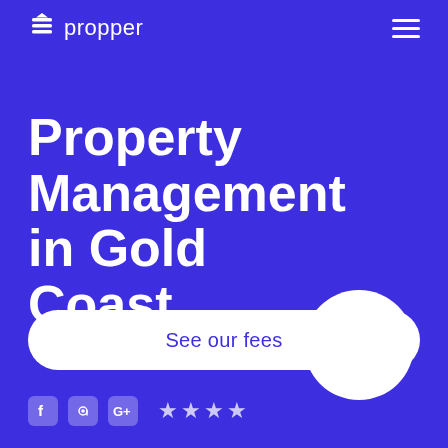propper
Property Management in Gold Coast
[Figure (logo): IAG 'backed by' circular badge with white text and logo on a white circle with blue text inside]
Brief overview text about this page
See our fees
[Figure (infographic): Social media icons row (Facebook, email/at symbol, Google+) followed by four star rating icons]